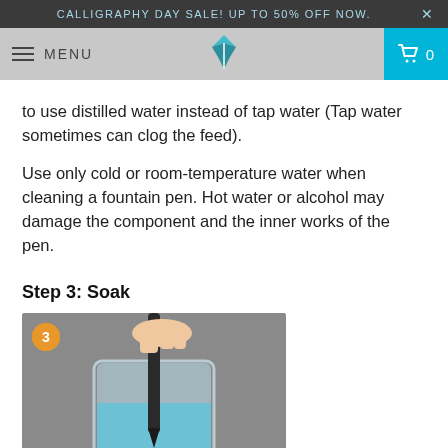CALLIGRAPHY DAY SALE! UP TO 50% OFF NOW.
to use distilled water instead of tap water (Tap water sometimes can clog the feed).
Use only cold or room-temperature water when cleaning a fountain pen. Hot water or alcohol may damage the component and the inner works of the pen.
Step 3: Soak
[Figure (photo): A hand dipping a fountain pen nib into a glass of blue-tinted water, step 3 badge visible in corner]